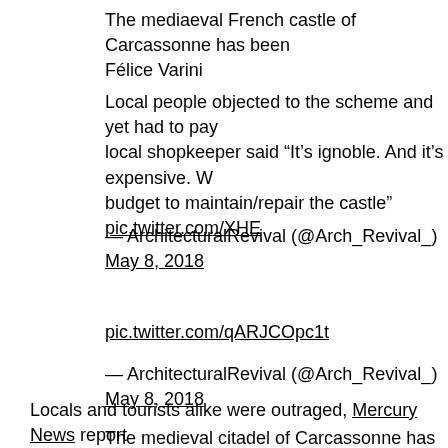The mediaeval French castle of Carcassonne has been Félice Varini
Local people objected to the scheme and yet had to pay local shopkeeper said “It’s ignoble. And it’s expensive. W budget to maintain/repair the castle” pic.twitter.com/XHE
— ArchitecturalRevival (@Arch_Revival_) May 8, 2018
pic.twitter.com/qARJCOpc1t
— ArchitecturalRevival (@Arch_Revival_) May 8, 2018
Locals and tourists alike were outraged, Mercury News report
The medieval citadel of Carcassonne has been given a mark its 20 years as a UNESCO World Heritage site.